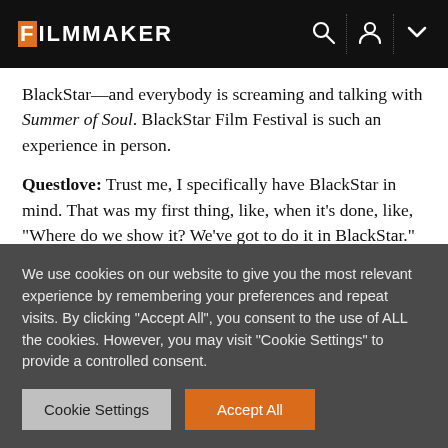FILMMAKER
BlackStar—and everybody is screaming and talking with Summer of Soul. BlackStar Film Festival is such an experience in person.
Questlove: Trust me, I specifically have BlackStar in mind. That was my first thing, like, when it's done, like, “Where do we show it? We’ve got to do it in BlackStar.” That’s what I had in mind—not Cannes, but BlackStar.
We use cookies on our website to give you the most relevant experience by remembering your preferences and repeat visits. By clicking “Accept All”, you consent to the use of ALL the cookies. However, you may visit "Cookie Settings" to provide a controlled consent.